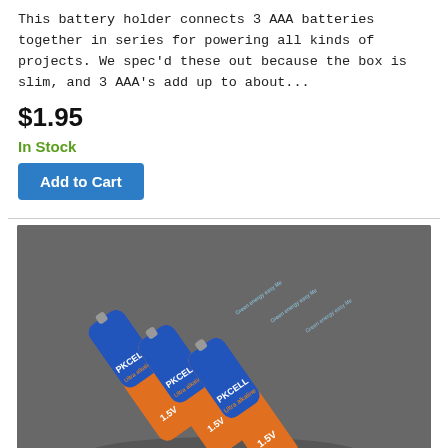This battery holder connects 3 AAA batteries together in series for powering all kinds of projects. We spec'd these out because the box is slim, and 3 AAA's add up to about...
$1.95
In Stock
Add to Cart
[Figure (photo): Three PKCELL 1.5V Ultra alkaline AAA batteries grouped together on a dark gray background, showing orange and blue label design with the text PKCELL, Ultra alkaline, Green energy easy life, and 1.5V visible on the batteries.]